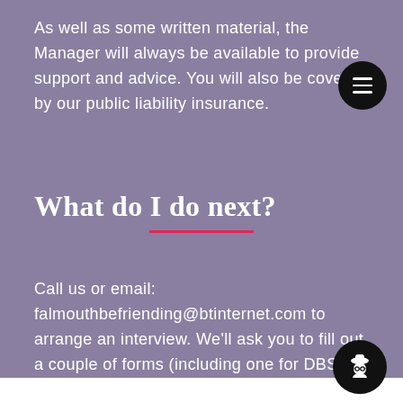As well as some written material, the Manager will always be available to provide support and advice. You will also be covered by our public liability insurance.
What do I do next?
Call us or email: falmouthbefriending@btinternet.com to arrange an interview. We'll ask you to fill out a couple of forms (including one for DBS clearance) and explain more in detail about how we operate.